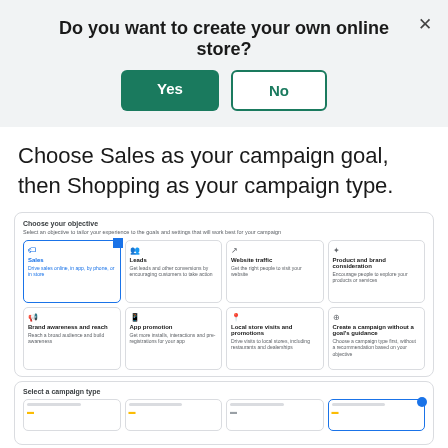Do you want to create your own online store?
[Figure (screenshot): Dialog with Yes (green filled button) and No (outlined button) options, with an X close button in the top right corner]
Choose Sales as your campaign goal, then Shopping as your campaign type.
[Figure (screenshot): Google Ads interface showing 'Choose your objective' panel with 8 options in a 4x2 grid: Sales (selected/highlighted in blue), Leads, Website traffic, Product and brand consideration, Brand awareness and reach, App promotion, Local store visits and promotions, Create a campaign without a goal's guidance]
[Figure (screenshot): Google Ads interface showing 'Select a campaign type' panel with 4 options in a row, the last one selected (Shopping)]